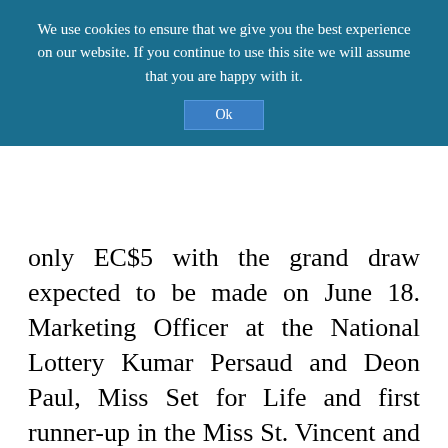We use cookies to ensure that we give you the best experience on our website. If you continue to use this site we will assume that you are happy with it.
Ok
only EC$5 with the grand draw expected to be made on June 18. Marketing Officer at the National Lottery Kumar Persaud and Deon Paul, Miss Set for Life and first runner-up in the Miss St. Vincent and the Grenadines Pageant 2004, took the jeep on a tour of the windward area. There, persons got the opportunity to meet Miss Set for Life and purchase tickets straight from the Nissan X-Trail. Another lottery vehicle mounted with